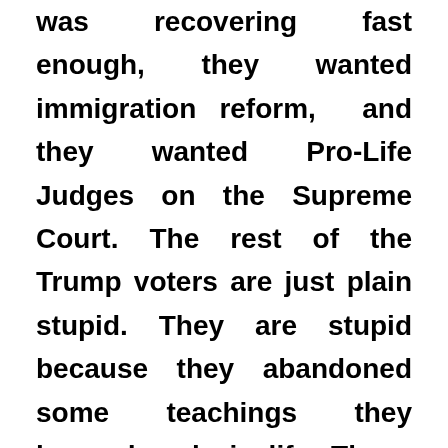was recovering fast enough, they wanted immigration reform, and they wanted Pro-Life Judges on the Supreme Court. The rest of the Trump voters are just plain stupid. They are stupid because they abandoned some teachings they learned early in life. These teachings demonstrate how common sense thinking can help us understand the world around us. If you are guilty of ignoring all of the teachings